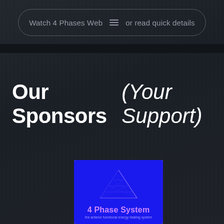Watch 4 Phases Web ≡ or read quick details
Our Sponsors  (Your Support)
[Figure (logo): 4 Phase System logo on dark blue background with geometric triangular rooftop wireframe graphic and purple text reading '4 Phase System' with tagline 'the anterior functional energy healing system']